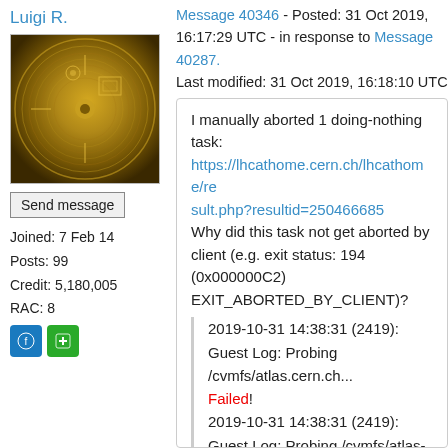Luigi R.
[Figure (photo): Avatar image showing a golden record (Voyager golden record) with circular engravings on a gold/brown background]
Send message
Joined: 7 Feb 14
Posts: 99
Credit: 5,180,005
RAC: 8
[Figure (other): Two small green and blue badge icons]
Message 40346 - Posted: 31 Oct 2019, 16:17:29 UTC - in response to Message 40287.
Last modified: 31 Oct 2019, 16:18:10 UTC
I manually aborted 1 doing-nothing task:
https://lhcathome.cern.ch/lhcathome/result.php?resultid=250466685
Why did this task not get aborted by client (e.g. exit status: 194 (0x000000C2) EXIT_ABORTED_BY_CLIENT)?

2019-10-31 14:38:31 (2419): Guest Log: Probing /cvmfs/atlas.cern.ch... Failed!
2019-10-31 14:38:31 (2419): Guest Log: Probing /cvmfs/atlas-